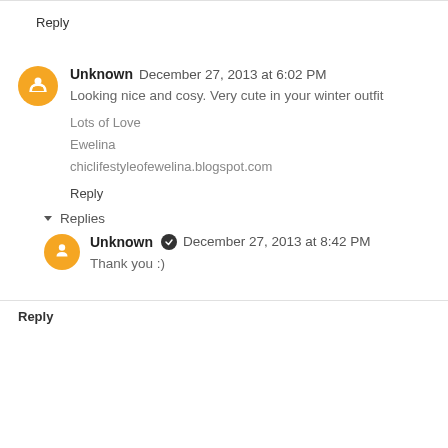Reply
Unknown  December 27, 2013 at 6:02 PM
Looking nice and cosy. Very cute in your winter outfit

Lots of Love
Ewelina
chiclifestyleofewelina.blogspot.com
Reply
Replies
Unknown  December 27, 2013 at 8:42 PM
Thank you :)
Reply